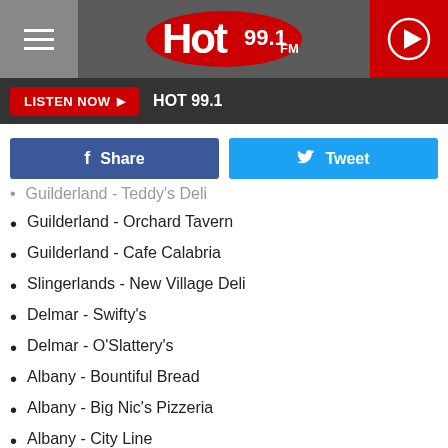HOT 99.1 FM
LISTEN NOW  HOT 99.1
f Share   Tweet
Guilderland - Teddy's Deli (partial)
Guilderland - Orchard Tavern
Guilderland - Cafe Calabria
Slingerlands - New Village Deli
Delmar - Swifty's
Delmar - O'Slattery's
Albany - Bountiful Bread
Albany - Big Nic's Pizzeria
Albany - City Line
Albany- The Across the Street Pub
Albany - Dan's Place 2
Albany - Lanie's Cafe
Albany - Dawn's Victory Sports Cafe
Albany - Cusato's Pizzeria